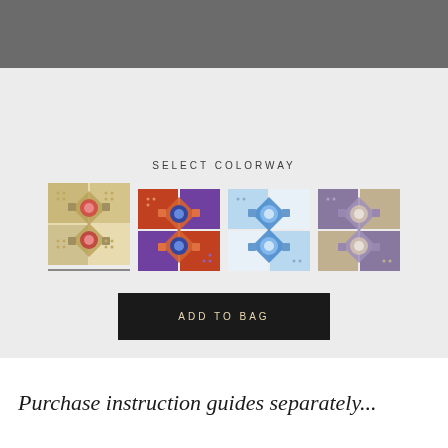[Figure (screenshot): Gray top navigation bar]
SELECT COLORWAY
[Figure (illustration): Four colorway tile swatches shown in a row: cream/gold geometric pattern, red/orange/purple geometric pattern, blue/white geometric pattern, purple/taupe geometric pattern. First swatch is selected indicated by underline.]
ADD TO BAG
Purchase instruction guides separately...